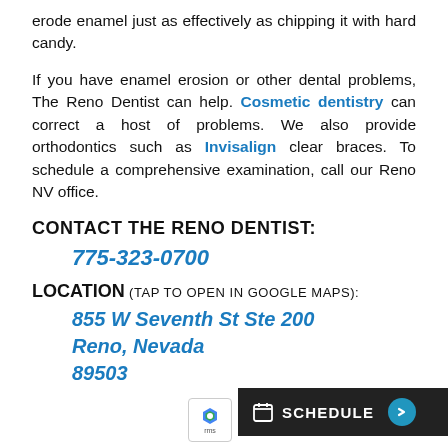erode enamel just as effectively as chipping it with hard candy.
If you have enamel erosion or other dental problems, The Reno Dentist can help. Cosmetic dentistry can correct a host of problems. We also provide orthodontics such as Invisalign clear braces. To schedule a comprehensive examination, call our Reno NV office.
CONTACT THE RENO DENTIST:
775-323-0700
LOCATION (TAP TO OPEN IN GOOGLE MAPS):
855 W Seventh St Ste 200
Reno, Nevada
89503